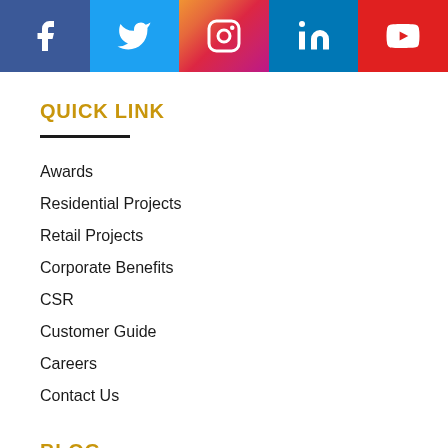[Figure (infographic): Social media icon bar with Facebook, Twitter, Instagram, LinkedIn, and YouTube icons in their brand colors]
QUICK LINK
Awards
Residential Projects
Retail Projects
Corporate Benefits
CSR
Customer Guide
Careers
Contact Us
BLOG